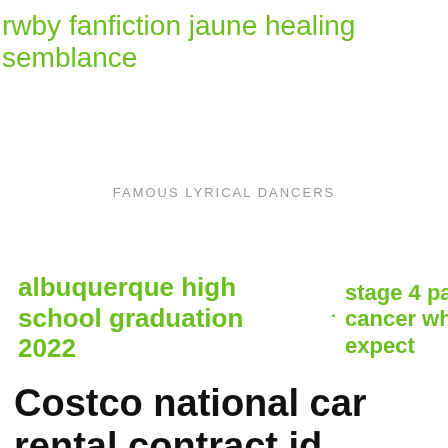rwby fanfiction jaune healing semblance
FAMOUS LYRICAL DANCERS
albuquerque high school graduation 2022
. stage 4 pancreatic cancer what to expect
Costco national car rental contract id
campbells
Save on everyday low rates at over 5,500
soup
cream of